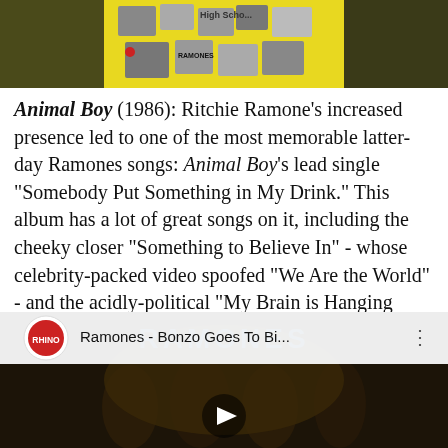[Figure (photo): Partial view of album covers collage on yellow/dark background at the top of the page]
Animal Boy (1986): Ritchie Ramone's increased presence led to one of the most memorable latter-day Ramones songs: Animal Boy's lead single "Somebody Put Something in My Drink." This album has a lot of great songs on it, including the cheeky closer "Something to Believe In" - whose celebrity-packed video spoofed "We Are the World" - and the acidly-political "My Brain is Hanging Upside Down (Bonzo Goes to Bitburg)," whose anti-Reagan lyrics angered the staunchly conservative Johnny.
[Figure (screenshot): YouTube video thumbnail showing Ramones - Bonzo Goes To Bi... with Rhino label logo, play button, and band photo in dark background]